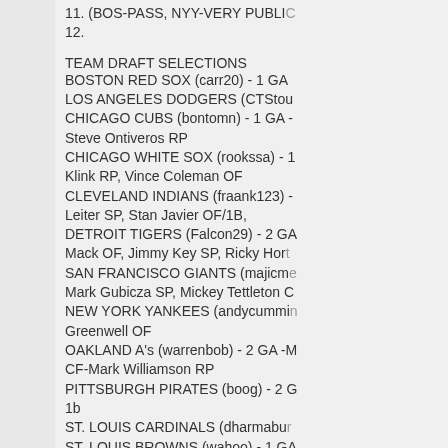11. (BOS-PASS, NYY-VERY PUBLIC...
12.
TEAM DRAFT SELECTIONS
BOSTON RED SOX (carr20) - 1 GA...
LOS ANGELES DODGERS (CTStou...
CHICAGO CUBS (bontomn) - 1 GA - Steve Ontiveros RP
CHICAGO WHITE SOX (rookssa) - ... Klink RP, Vince Coleman OF
CLEVELAND INDIANS (fraank123) - ... Leiter SP, Stan Javier OF/1B,
DETROIT TIGERS (Falcon29) - 2 GA ... Mack OF, Jimmy Key SP, Ricky Hor...
SAN FRANCISCO GIANTS (majicm... Mark Gubicza SP, Mickey Tettleton C...
NEW YORK YANKEES (andycummi... Greenwell OF
OAKLAND A's (warrenbob) - 2 GA -... CF-Mark Williamson RP
PITTSBURGH PIRATES (boog) - 2 C... 1b
ST. LOUIS CARDINALS (dharmabu...
ST. LOUIS BROWNS (wahoo) - 1 GA... Duane Ward RP, B.J. Surhoff 1B/C/L...